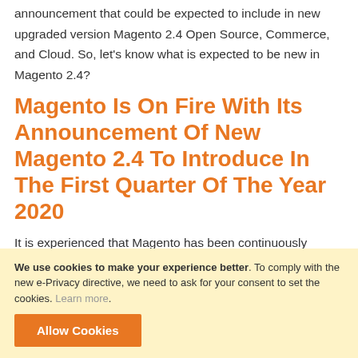announcement that could be expected to include in new upgraded version Magento 2.4 Open Source, Commerce, and Cloud. So, let's know what is expected to be new in Magento 2.4?
Magento Is On Fire With Its Announcement Of New Magento 2.4 To Introduce In The First Quarter Of The Year 2020
It is experienced that Magento has been continuously releasing upgrades for its new version at every quarter of the year. Whenever Magento has released its new
We use cookies to make your experience better. To comply with the new e-Privacy directive, we need to ask for your consent to set the cookies. Learn more.
Allow Cookies